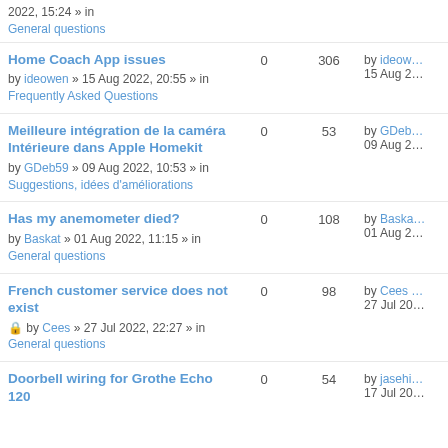Home Coach App issues by ideowen » 15 Aug 2022, 20:55 » in Frequently Asked Questions | 0 replies | 306 views | by ideowen 15 Aug 2
Meilleure intégration de la caméra Intérieure dans Apple Homekit by GDeb59 » 09 Aug 2022, 10:53 » in Suggestions, idées d'améliorations | 0 replies | 53 views | by GDeb 09 Aug 2
Has my anemometer died? by Baskat » 01 Aug 2022, 11:15 » in General questions | 0 replies | 108 views | by Baska 01 Aug 2
French customer service does not exist by Cees » 27 Jul 2022, 22:27 » in General questions | 0 replies | 98 views | by Cees 27 Jul 20
Doorbell wiring for Grothe Echo 120 | 0 replies | 54 views | by jasehi 17 Jul 20